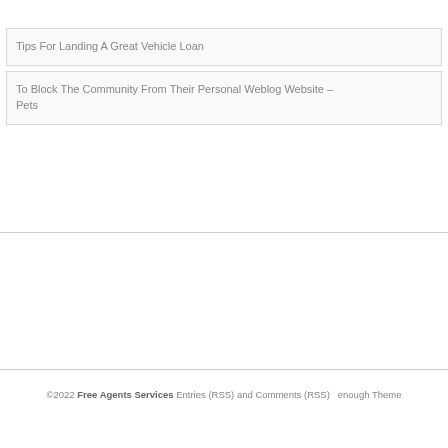Tips For Landing A Great Vehicle Loan
To Block The Community From Their Personal Weblog Website – Pets
©2022 Free Agents Services Entries (RSS) and Comments (RSS)  enough Theme